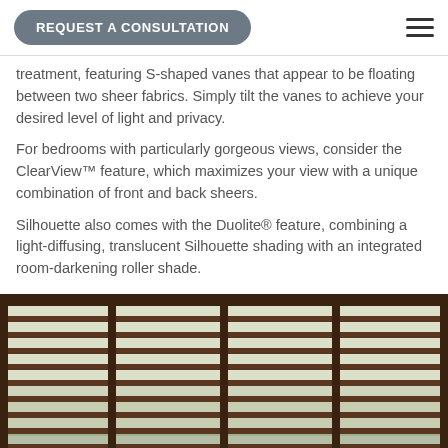REQUEST A CONSULTATION
treatment, featuring S-shaped vanes that appear to be floating between two sheer fabrics. Simply tilt the vanes to achieve your desired level of light and privacy.
For bedrooms with particularly gorgeous views, consider the ClearView™ feature, which maximizes your view with a unique combination of front and back sheers.
Silhouette also comes with the Duolite® feature, combining a light-diffusing, translucent Silhouette shading with an integrated room-darkening roller shade.
[Figure (photo): Close-up photograph of Silhouette window blinds showing S-shaped vanes between sheer fabrics with a wooden frame/rail, with trees visible through the window in the background.]